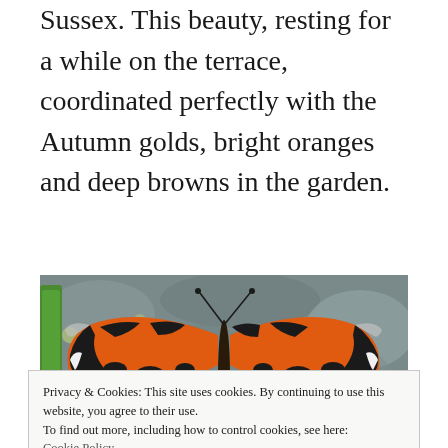Sussex. This beauty, resting for a while on the terrace, coordinated perfectly with the Autumn golds, bright oranges and deep browns in the garden.
[Figure (photo): Close-up photograph of a tortoiseshell butterfly resting on a stone surface, with wings open showing orange, black, and white pattern. A green plant stem is visible on the left.]
Privacy & Cookies: This site uses cookies. By continuing to use this website, you agree to their use.
To find out more, including how to control cookies, see here: Cookie Policy
Close and accept
[Figure (photo): Partial view of another outdoor garden photo at the bottom of the page.]